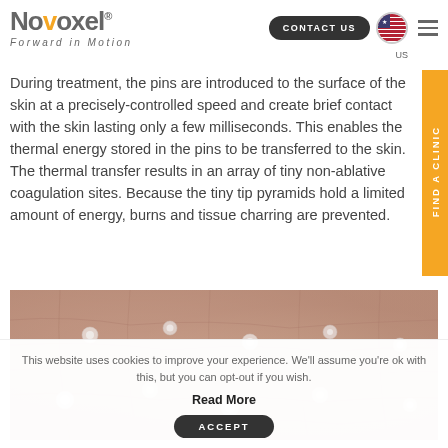Novoxel — Forward in Motion | CONTACT US | US
During treatment, the pins are introduced to the surface of the skin at a precisely-controlled speed and create brief contact with the skin lasting only a few milliseconds. This enables the thermal energy stored in the pins to be transferred to the skin. The thermal transfer results in an array of tiny non-ablative coagulation sites. Because the tiny tip pyramids hold a limited amount of energy, burns and tissue charring are prevented.
[Figure (photo): Close-up microscopic photograph of skin surface showing coagulation dots arranged in a pattern across skin tissue]
This website uses cookies to improve your experience. We'll assume you're ok with this, but you can opt-out if you wish.
Read More
ACCEPT